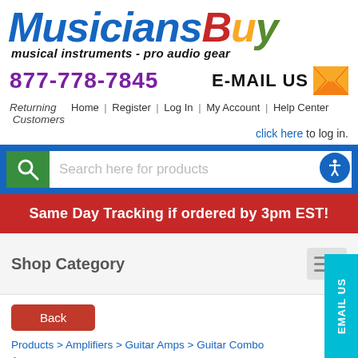[Figure (logo): MusiciansBuy logo with tagline 'musical instruments - pro audio gear']
877-778-7845   E-MAIL US
Returning Customers   Home | Register | Log In | My Account | Help Center
click here to log in.
[Figure (screenshot): Search bar with green search icon button and placeholder 'Search here for products', accessibility icon]
Same Day Tracking if ordered by 3pm EST!
Shop Category
Back
Products > Amplifiers > Guitar Amps > Guitar Combo Amps >
Blackstar Silverline SILVERDI X100S 100W 2X12 Digital